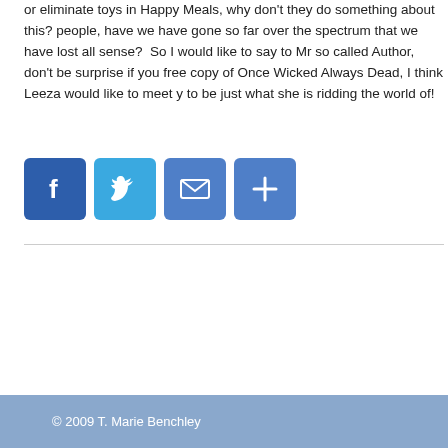or eliminate toys in Happy Meals, why don't they do something about this? people, have we have gone so far over the spectrum that we have lost all sense?  So I would like to say to Mr so called Author, don't be surprise if you free copy of Once Wicked Always Dead, I think Leeza would like to meet you to be just what she is ridding the world of!
[Figure (infographic): Row of four social sharing icon buttons: Facebook (blue with F), Twitter (light blue with bird), Email (blue with envelope), and More/Share (blue with plus sign)]
© 2009 T. Marie Benchley